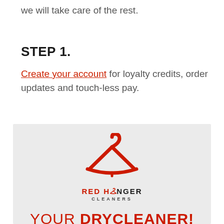we will take care of the rest.
STEP 1.
Create your account for loyalty credits, order updates and touch-less pay.
[Figure (logo): Red Hanger Cleaners logo with a red hanger icon and text 'RED HANGER CLEANERS' above 'YOUR DRYCLEANER!']